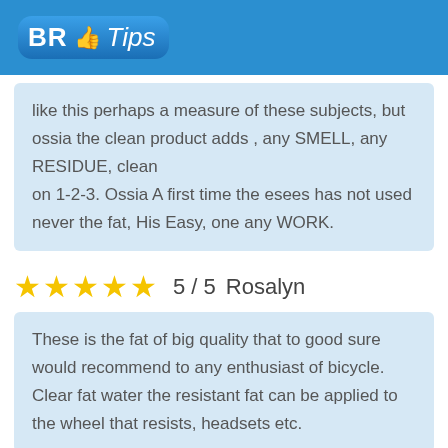BR Tips
like this perhaps a measure of these subjects, but ossia the clean product adds , any SMELL, any RESIDUE, clean on 1-2-3. Ossia A first time the esees has not used never the fat, His Easy, one any WORK.
★★★★★  5 / 5  Rosalyn
These is the fat of big quality that to good sure would recommend to any enthusiast of bicycle. Clear fat water the resistant fat can be applied to the wheel that resists, headsets etc.